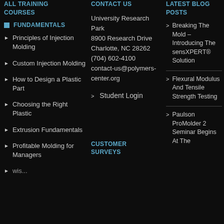ALL TRAINING COURSES
CONTACT US
LATEST BLOG POSTS
FUNDAMENTALS
Principles of Injection Molding
Custom Injection Molding
How to Design a Plastic Part
Choosing the Right Plastic
Extrusion Fundamentals
Profitable Molding for Managers
University Research Park
8900 Research Drive
Charlotte, NC 28262
(704) 602-4100
contact-us@polymers-center.org
Student Login
CUSTOMER SURVEYS
Breaking The Mold – Introducing The sensXPERT® Solution
Flexural Modulus And Tensile Strength Testing
Paulson ProMolder 2 Seminar Begins At The...